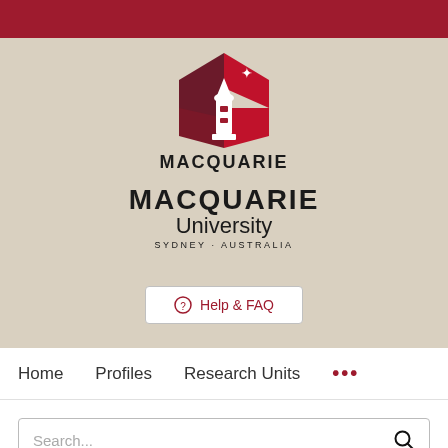[Figure (logo): Macquarie University logo with lighthouse and hexagonal red/maroon geometric shape with star, and text MACQUARIE University SYDNEY·AUSTRALIA]
⊕ Help & FAQ
Home   Profiles   Research Units   ...
Search...
A model inter-comparison study to examine limiting factors in